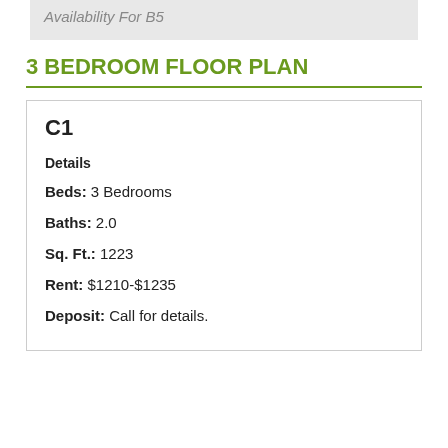Availability For B5
3 BEDROOM FLOOR PLAN
C1
Details
Beds: 3 Bedrooms
Baths: 2.0
Sq. Ft.: 1223
Rent: $1210-$1235
Deposit: Call for details.